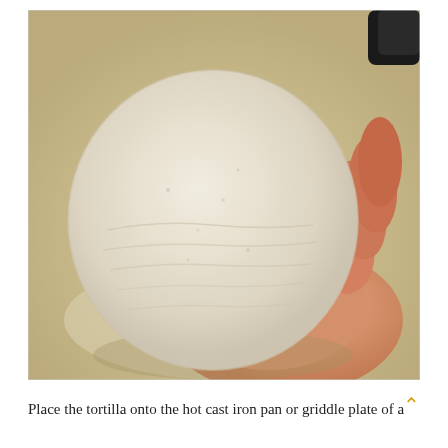[Figure (photo): A hand holding a round, flat, uncooked flour tortilla. The tortilla is pale white/cream colored and roughly circular. The background shows parchment/wax paper on a surface. A dark object is partially visible in the upper right corner.]
Place the tortilla onto the hot cast iron pan or griddle plate of a